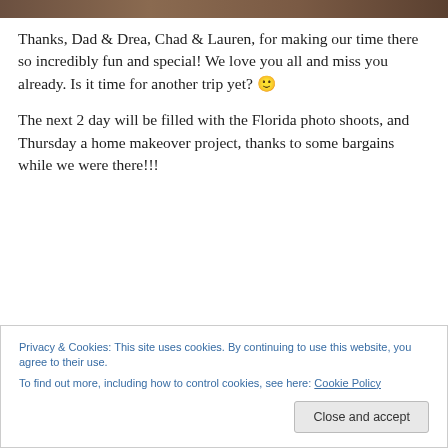[Figure (photo): Partial photo strip at the top of the page, showing a cropped image with people, mostly cut off]
Thanks, Dad & Drea, Chad & Lauren, for making our time there so incredibly fun and special! We love you all and miss you already. Is it time for another trip yet? 🙂
The next 2 day will be filled with the Florida photo shoots, and Thursday a home makeover project, thanks to some bargains while we were there!!!
Privacy & Cookies: This site uses cookies. By continuing to use this website, you agree to their use.
To find out more, including how to control cookies, see here: Cookie Policy